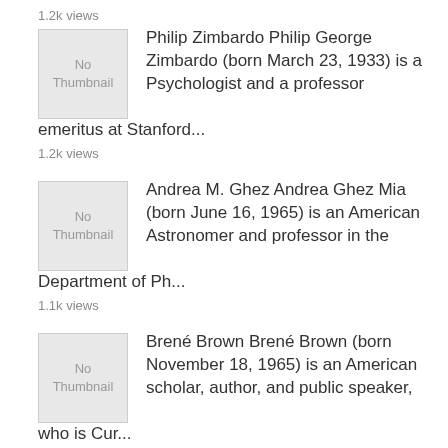1.2k views
[Figure (illustration): No Thumbnail placeholder image]
Philip Zimbardo Philip George Zimbardo (born March 23, 1933) is a Psychologist and a professor emeritus at Stanford...
1.2k views
[Figure (illustration): No Thumbnail placeholder image]
Andrea M. Ghez Andrea Ghez Mia (born June 16, 1965) is an American Astronomer and professor in the Department of Ph...
1.1k views
[Figure (illustration): No Thumbnail placeholder image]
Brené Brown Brené Brown (born November 18, 1965) is an American scholar, author, and public speaker, who is Cur...